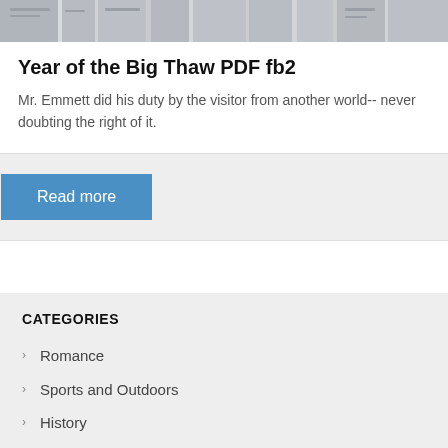[Figure (photo): Blurred/greyed out image of bookshelves with books]
Year of the Big Thaw PDF fb2
Mr. Emmett did his duty by the visitor from another world-- never doubting the right of it.
Read more
CATEGORIES
Romance
Sports and Outdoors
History
Textbooks
Politics and Social Sciences